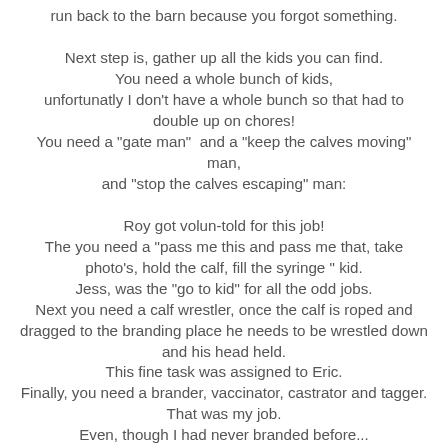run back to the barn because you forgot something.

Next step is, gather up all the kids you can find. You need a whole bunch of kids, unfortunatly I don't have a whole bunch so that had to double up on chores! You need a "gate man" and a "keep the calves moving" man, and "stop the calves escaping" man:

Roy got volun-told for this job! The you need a "pass me this and pass me that, take photo's, hold the calf, fill the syringe " kid. Jess, was the "go to kid" for all the odd jobs. Next you need a calf wrestler, once the calf is roped and dragged to the branding place he needs to be wrestled down and his head held. This fine task was assigned to Eric. Finally, you need a brander, vaccinator, castrator and tagger. That was my job. Even, though I had never branded before... but I learn fast!